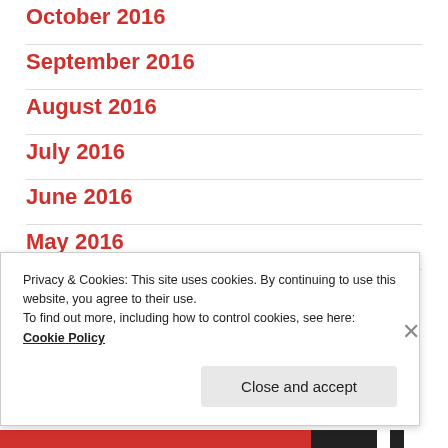October 2016
September 2016
August 2016
July 2016
June 2016
May 2016
April 2016
Privacy & Cookies: This site uses cookies. By continuing to use this website, you agree to their use.
To find out more, including how to control cookies, see here:
Cookie Policy
Close and accept